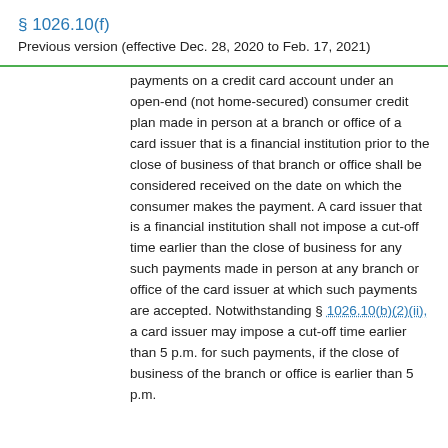§ 1026.10(f)
Previous version (effective Dec. 28, 2020 to Feb. 17, 2021)
payments on a credit card account under an open-end (not home-secured) consumer credit plan made in person at a branch or office of a card issuer that is a financial institution prior to the close of business of that branch or office shall be considered received on the date on which the consumer makes the payment. A card issuer that is a financial institution shall not impose a cut-off time earlier than the close of business for any such payments made in person at any branch or office of the card issuer at which such payments are accepted. Notwithstanding § 1026.10(b)(2)(ii), a card issuer may impose a cut-off time earlier than 5 p.m. for such payments, if the close of business of the branch or office is earlier than 5 p.m.